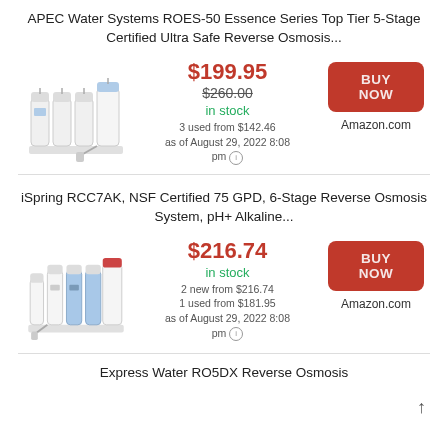APEC Water Systems ROES-50 Essence Series Top Tier 5-Stage Certified Ultra Safe Reverse Osmosis...
[Figure (photo): Photo of APEC water filtration system with multiple white filter canisters]
$199.95
$260.00
in stock
3 used from $142.46
as of August 29, 2022 8:08 pm
BUY NOW
Amazon.com
iSpring RCC7AK, NSF Certified 75 GPD, 6-Stage Reverse Osmosis System, pH+ Alkaline...
[Figure (photo): Photo of iSpring reverse osmosis system with blue and white filter canisters]
$216.74
in stock
2 new from $216.74
1 used from $181.95
as of August 29, 2022 8:08 pm
BUY NOW
Amazon.com
Express Water RO5DX Reverse Osmosis